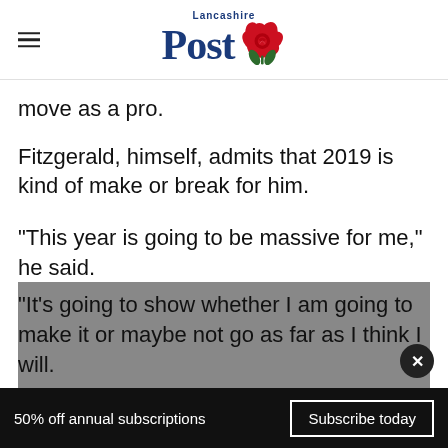Lancashire Post
move as a pro.
Fitzgerald, himself, admits that 2019 is kind of make or break for him.
“This year is going to be massive for me,” he said.
“It’s going to show whether I am going to make it or maybe not go as far as I think I will.
50% off annual subscriptions   Subscribe today